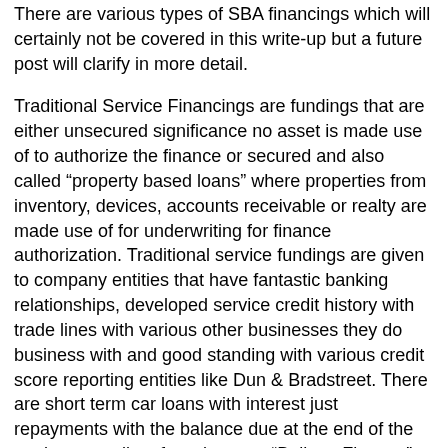There are various types of SBA financings which will certainly not be covered in this write-up but a future post will clarify in more detail.
Traditional Service Financings are fundings that are either unsecured significance no asset is made use of to authorize the finance or secured and also called “property based loans” where properties from inventory, devices, accounts receivable or realty are made use of for underwriting for finance authorization. Traditional service fundings are given to company entities that have fantastic banking relationships, developed service credit history with trade lines with various other businesses they do business with and good standing with various credit score reporting entities like Dun & Bradstreet. There are short term car loans with interest just repayments with the balance due at the end of the car loan usually referred to as a “Balloon Finance”. There are additionally longer term financings that are totally amortized (major and interest in each payment) and longer term.